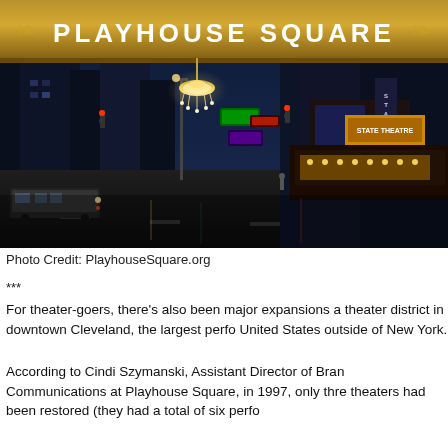[Figure (photo): Nighttime photo of Playhouse Square in downtown Cleveland, showing the illuminated arch marquee with 'PLAYHOUSE SQUARE' text in gold, neon theater signs, a large chandelier hanging from the arch, and a bus on the street below. Multiple theater facades are visible on the right side of Euclid Avenue.]
Photo Credit: PlayhouseSquare.org
***
For theater-goers, there's also been major expansions a theater district in downtown Cleveland, the largest perfo United States outside of New York.
According to Cindi Szymanski, Assistant Director of Bran Communications at Playhouse Square, in 1997, only thre theaters had been restored (they had a total of six perfo